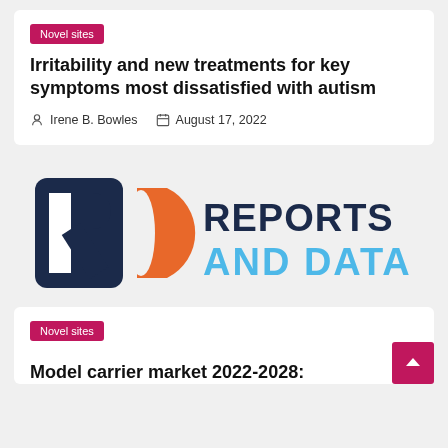Novel sites
Irritability and new treatments for key symptoms most dissatisfied with autism
Irene B. Bowles   August 17, 2022
[Figure (logo): Reports and Data logo — 'RD' monogram with dark navy R and orange D, followed by 'REPORTS AND DATA' text in navy and cyan]
Novel sites
Model carrier market 2022-2028: